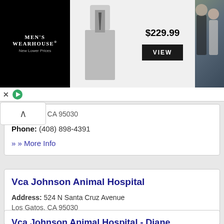[Figure (screenshot): Men's Wearhouse advertisement banner showing suit priced at $229.99 with a VIEW button and a wedding photo]
Los Gatos, CA 95030
Phone: (408) 898-4391
» More Info
Vca Johnson Animal Hospital
Address: 524 N Santa Cruz Avenue Los Gatos, CA 95030
Phone: (408) 354-9530
» More Info
Vca Johnson Animal Hospital - Diane